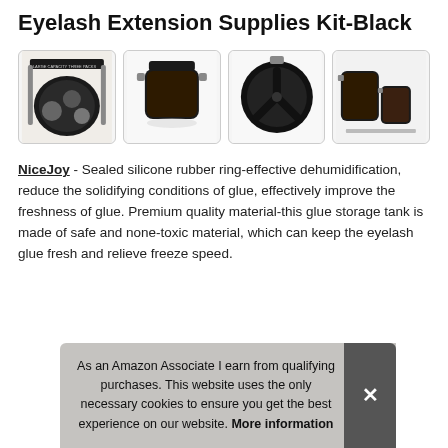Eyelash Extension Supplies Kit-Black
[Figure (photo): Four product thumbnail photos of black eyelash glue storage containers/jars with metal clips, shown from different angles]
NiceJoy - Sealed silicone rubber ring-effective dehumidification, reduce the solidifying conditions of glue, effectively improve the freshness of glue. Premium quality material-this glue storage tank is made of safe and none-toxic material, which can keep the eyelash glue fresh and relieve freeze speed.
As an Amazon Associate I earn from qualifying purchases. This website uses the only necessary cookies to ensure you get the best experience on our website. More information